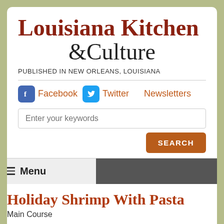Louisiana Kitchen & Culture
PUBLISHED IN NEW ORLEANS, LOUISIANA
Facebook  Twitter  Newsletters
Enter your keywords
SEARCH
Menu
Holiday Shrimp With Pasta
Main Course